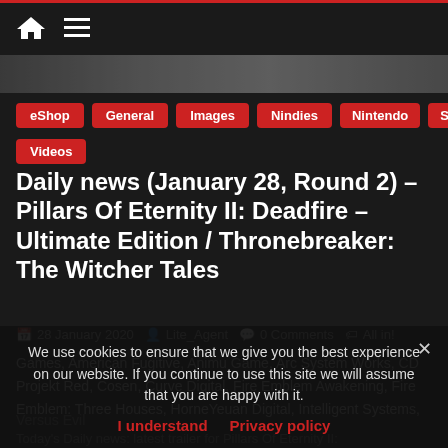Home | Menu
[Figure (photo): Banner image with blurred background texture]
eShop
General
Images
Nindies
Nintendo
Switch
Videos
Daily news (January 28, Round 2) – Pillars Of Eternity II: Deadfire – Ultimate Edition / Thronebreaker: The Witcher Tales
28 January 2020  Lite_Agent  0 Comments  All in! Games, American Fugitive, Animu Game, Arc System Works, CD Projekt Red, Cosen, Curve Digital, Fire Emblem Awakening, Fire Emblem: Three Houses, HorneYeuan Digital, Intelligent Systems, Versus Evil
We use cookies to ensure that we give you the best experience on our website. If you continue to use this site we will assume that you are happy with it.
I understand  Privacy policy
Today's Daily news: latest trailer for Pillars Of Eternity II: